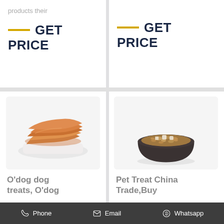products their
GET PRICE
GET PRICE
[Figure (photo): O'dog dog treats on a white plate - dried chicken strips]
[Figure (photo): Pet food/treats in a dark bowl - granular pet food]
O'dog dog treats, O'dog
Pet Treat China Trade,Buy
Phone   Email   Whatsapp